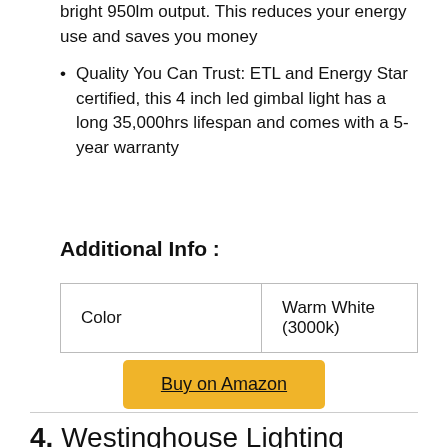bright 950lm output. This reduces your energy use and saves you money
Quality You Can Trust: ETL and Energy Star certified, this 4 inch led gimbal light has a long 35,000hrs lifespan and comes with a 5-year warranty
Additional Info :
| Color | Warm White (3000k) |
| --- | --- |
Buy on Amazon
4. Westinghouse Lighting